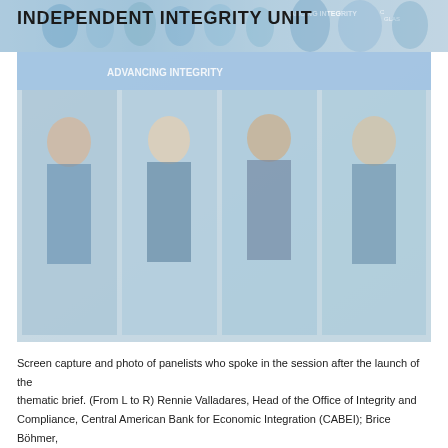INDEPENDENT INTEGRITY UNIT
[Figure (photo): Screen capture from a video conference session showing panelists after the launch of a thematic brief. The banner in the background reads 'ADVANCING INTEGRITY'. Several people are visible on screen against a light blue/teal conference backdrop.]
Screen capture and photo of panelists who spoke in the session after the launch of the thematic brief. (From L to R) Rennie Valladares, Head of the Office of Integrity and Compliance, Central American Bank for Economic Integration (CABEI); Brice Böhmer, Climate and Environmental Lead, Transparency International; Ibrahim Pam, Head of the